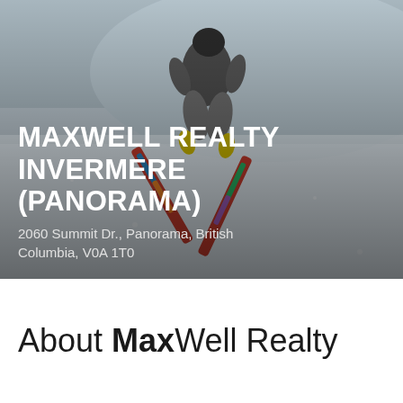[Figure (photo): Overhead/aerial view of a skier in grey snow gear with colorful skis on a snowy slope. The skier is photographed from above showing their back, skis spread apart on white snow.]
MAXWELL REALTY INVERMERE (PANORAMA)
2060 Summit Dr., Panorama, British Columbia, V0A 1T0
About MaxWell Realty